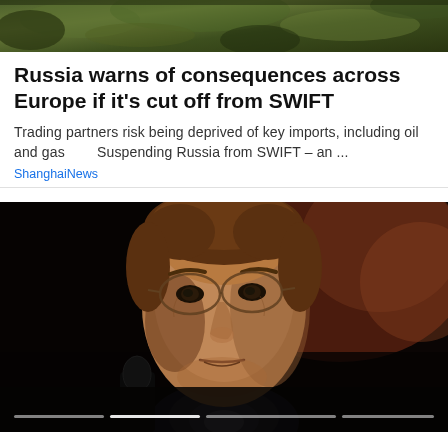[Figure (photo): Top partial image of natural/outdoor scene, cropped at top of page]
Russia warns of consequences across Europe if it's cut off from SWIFT
Trading partners risk being deprived of key imports, including oil and gas      Suspending Russia from SWIFT – an ...
ShanghaiNews
[Figure (photo): Dark portrait photo of a middle-aged man with glasses in a suit, speaking at what appears to be a hearing or formal event, with progress/navigation bars at the bottom]